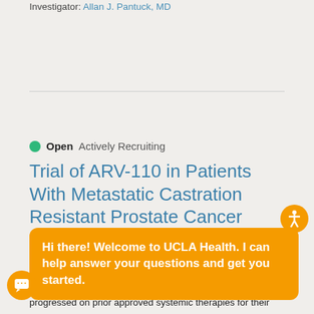Investigator: Allan J. Pantuck, MD
● Open  Actively Recruiting
Trial of ARV-110 in Patients With Metastatic Castration Resistant Prostate Cancer
Phase 1/2 dose escalation study to assess the safety and tolerability of ARV-110 in men with mCRPC who have progressed on prior approved systemic therapies for their castrate resistant disease (one of which must be abiraterone and/or enzalutamide).
Phase: Phase 1/2
Primary Purpose: Treatment
Hi there! Welcome to UCLA Health. I can help answer your questions and get you started.